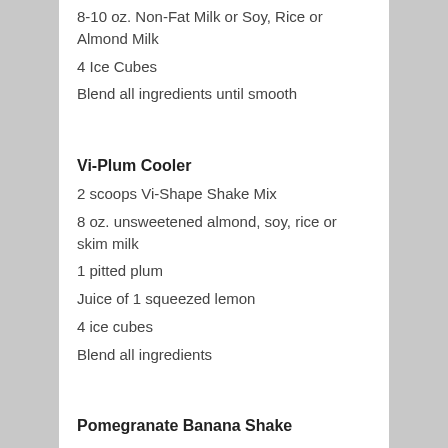8-10 oz. Non-Fat Milk or Soy, Rice or Almond Milk
4 Ice Cubes
Blend all ingredients until smooth
Vi-Plum Cooler
2 scoops Vi-Shape Shake Mix
8 oz. unsweetened almond, soy, rice or skim milk
1 pitted plum
Juice of 1 squeezed lemon
4 ice cubes
Blend all ingredients
Pomegranate Banana Shake
2 scoops Vi-Shape Shake Mix
8 oz. of unsweetened almond, soy, rice or skim milk
¼ cup of pomegranate seeds (frozen)